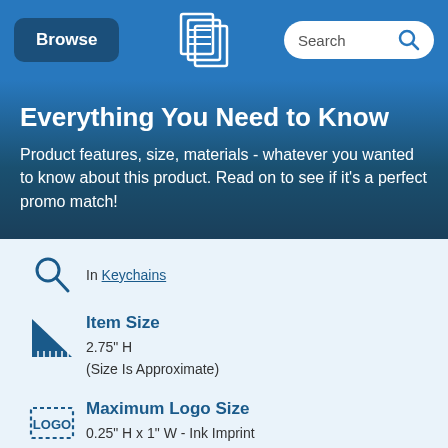Browse | [logo] | Search
Everything You Need to Know
Product features, size, materials - whatever you wanted to know about this product. Read on to see if it's a perfect promo match!
In Keychains
Item Size
2.75" H
(Size Is Approximate)
Maximum Logo Size
0.25" H x 1" W - Ink Imprint
Vector Artwork + Proofs